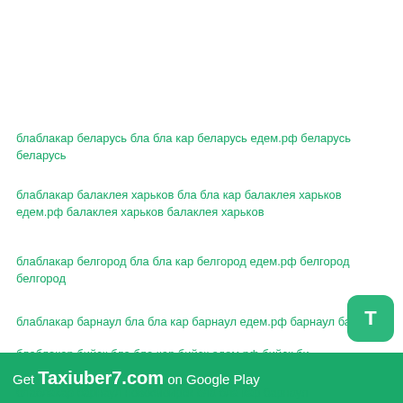блаблакар беларусь бла бла кар беларусь едем.рф беларусь беларусь
блаблакар балаклея харьков бла бла кар балаклея харьков едем.рф балаклея харьков балаклея харьков
блаблакар белгород бла бла кар белгород едем.рф белгород белгород
блаблакар барнаул бла бла кар барнаул едем.рф барнаул барнаул
блаблакар бийск бла бла кар бийск едем.рф бийск би
блаблакар брянск бла бла кар брянск едем.рф брянск брянск
блаблакар барнаул новосиоирск бла бла кар барнаул